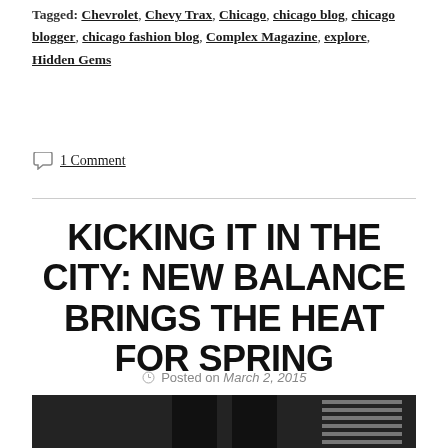Tagged: Chevrolet, Chevy Trax, Chicago, chicago blog, chicago blogger, chicago fashion blog, Complex Magazine, explore, Hidden Gems
1 Comment
KICKING IT IN THE CITY: NEW BALANCE BRINGS THE HEAT FOR SPRING
Posted on March 2, 2015
[Figure (photo): Partial photo of a person standing on what appears to be a rooftop or elevated area, showing only the lower body in dark clothing, with urban background visible.]